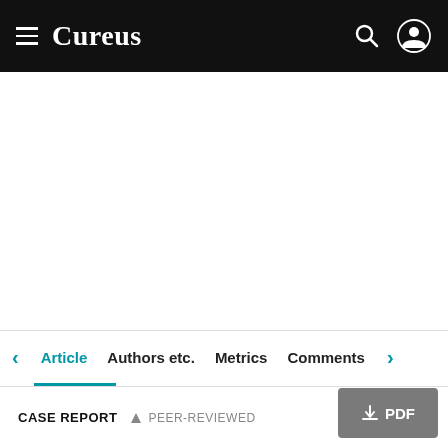Cureus
Article   Authors etc.   Metrics   Comments
CASE REPORT   PEER-REVIEWED
PDF